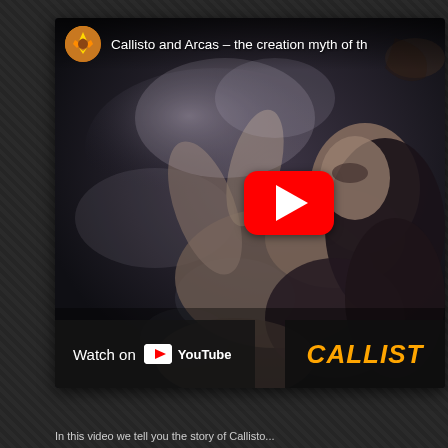[Figure (screenshot): YouTube video embed screenshot showing a moody fantasy/mythology themed video titled 'Callisto and Arcas – the creation myth of th...' with a woman reclining dramatically against smoky ethereal background, a YouTube play button overlay, 'Watch on YouTube' bar at bottom left, and 'CALLIST' text in orange at bottom right]
In this video we tell you the story of Callisto...